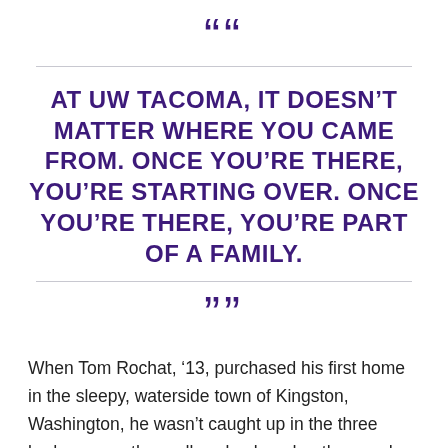““
AT UW TACOMA, IT DOESN’T MATTER WHERE YOU CAME FROM. ONCE YOU’RE THERE, YOU’RE STARTING OVER. ONCE YOU’RE THERE, YOU’RE PART OF A FAMILY.
””
When Tom Rochat, ’13, purchased his first home in the sleepy, waterside town of Kingston, Washington, he wasn’t caught up in the three bedrooms or the endless backyard or the wood-